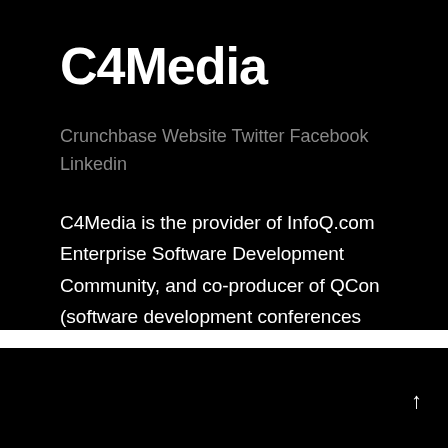C4Media
Crunchbase Website Twitter Facebook Linkedin
C4Media is the provider of InfoQ.com Enterprise Software Development Community, and co-producer of QCon (software development conferences
[Figure (photo): Photo thumbnail showing cables/equipment in a dimly lit venue setting]